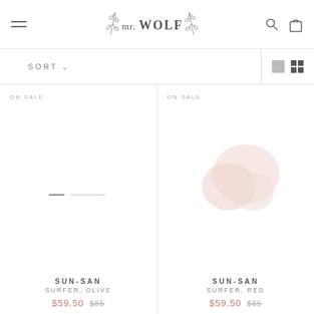[Figure (logo): Mr. Wolf brand logo with botanical leaf illustrations on either side of handwritten-style text]
[Figure (other): Sort dropdown and grid view toggle icons in toolbar]
ON SALE
[Figure (photo): Product image area for Sun-San Surfer Olive sandal — appears mostly blank/loading with a small slider indicator]
SUN-SAN
SURFER, OLIVE
$59.50  $85
ON SALE
[Figure (photo): Product image area for Sun-San Surfer Red sandal — shows a faint pink/rose colored sandal image]
SUN-SAN
SURFER, RED
$59.50  $85